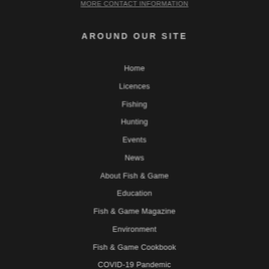MORE CONTACT INFORMATION
AROUND OUR SITE
Home
Licences
Fishing
Hunting
Events
News
About Fish & Game
Education
Fish & Game Magazine
Environment
Fish & Game Cookbook
COVID-19 Pandemic
Advertise with us
Fishing Licence Photo Competition